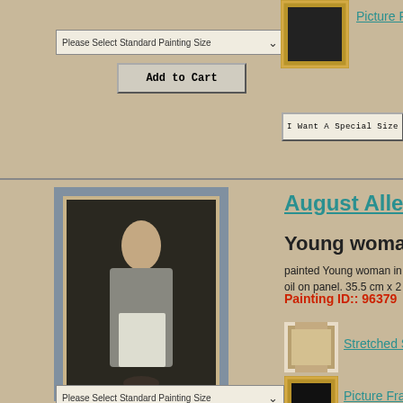[Figure (screenshot): Dropdown selector labeled 'Please Select Standard Painting Size' with arrow]
[Figure (other): Add to Cart button]
[Figure (photo): Picture frame thumbnail in top right]
Picture Frames
[Figure (other): I Want A Special Size button]
[Figure (photo): Painting of a young woman in a grey dress holding flowers, framed with grey border]
August Alle
Young woman
painted Young woman in oil on panel. 35.5 cm x 2
Painting ID::  96379
[Figure (photo): Stretched canvas service thumbnail]
Stretched Servic
[Figure (photo): Picture frame thumbnail]
Picture Frames
[Figure (screenshot): Dropdown selector labeled 'Please Select Standard Painting Size']
[Figure (other): Add to Cart button]
[Figure (other): I Want A Special Size button]